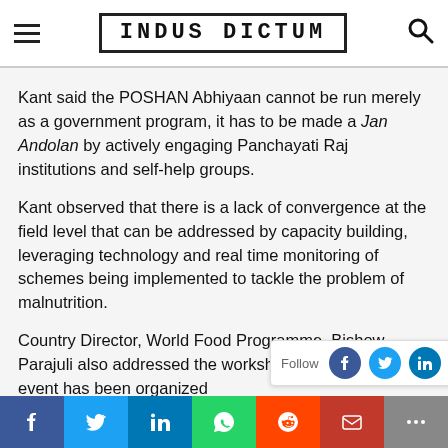INDUS DICTUM
Kant said the POSHAN Abhiyaan cannot be run merely as a government program, it has to be made a Jan Andolan by actively engaging Panchayati Raj institutions and self-help groups.
Kant observed that there is a lack of convergence at the field level that can be addressed by capacity building, leveraging technology and real time monitoring of schemes being implemented to tackle the problem of malnutrition.
Country Director, World Food Programme, Bishow Parajuli also addressed the workshop. The two-day event has been organized and Observer Research Fo...